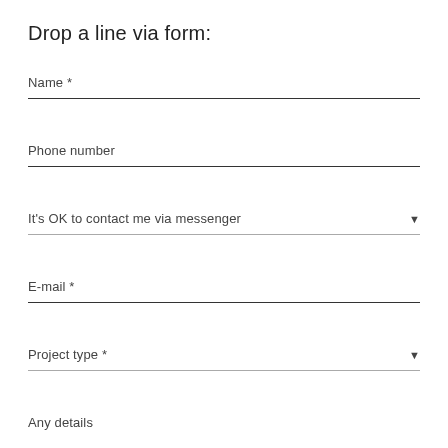Drop a line via form:
Name *
Phone number
It's OK to contact me via messenger
E-mail *
Project type *
Any details